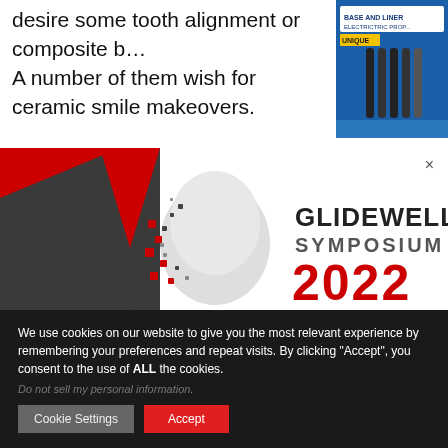desire some tooth alignment or composite b… A number of them wish for ceramic smile makeovers.
[Figure (other): Partial advertisement image for dental product with blue packaging visible in top-right corner]
[Figure (logo): Glidewell Symposium 2022 banner logo with tooth graphic made of colorful dots, dark background with red diagonal stripe]
We use cookies on our website to give you the most relevant experience by remembering your preferences and repeat visits. By clicking “Accept”, you consent to the use of ALL the cookies.
Do not sell my personal information.
Cookie Settings
Accept